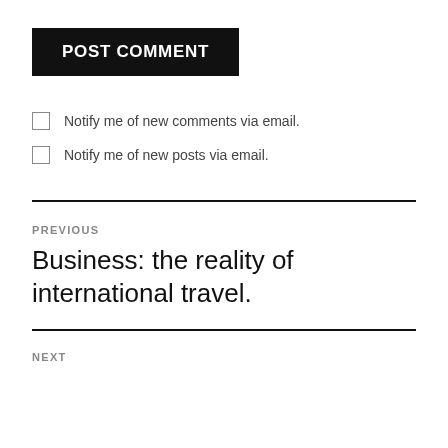POST COMMENT
Notify me of new comments via email.
Notify me of new posts via email.
PREVIOUS
Business: the reality of international travel.
NEXT